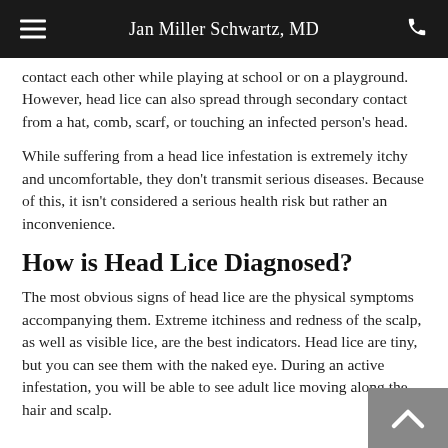Jan Miller Schwartz, MD
contact each other while playing at school or on a playground. However, head lice can also spread through secondary contact from a hat, comb, scarf, or touching an infected person's head.
While suffering from a head lice infestation is extremely itchy and uncomfortable, they don't transmit serious diseases. Because of this, it isn't considered a serious health risk but rather an inconvenience.
How is Head Lice Diagnosed?
The most obvious signs of head lice are the physical symptoms accompanying them. Extreme itchiness and redness of the scalp, as well as visible lice, are the best indicators. Head lice are tiny, but you can see them with the naked eye. During an active infestation, you will be able to see adult lice moving along the hair and scalp.